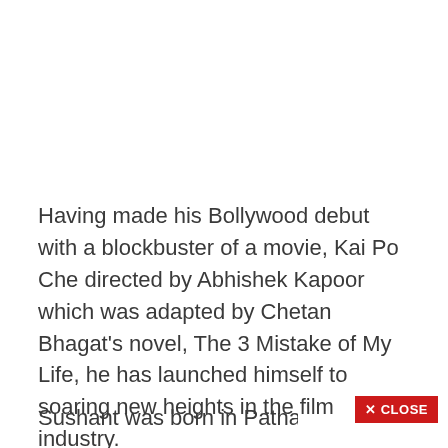Having made his Bollywood debut with a blockbuster of a movie, Kai Po Che directed by Abhishek Kapoor which was adapted by Chetan Bhagat's novel, The 3 Mistake of My Life, he has launched himself to soaring new heights in the film industry.
Sushant was born in Patna. His parents shifted him to Delhi...